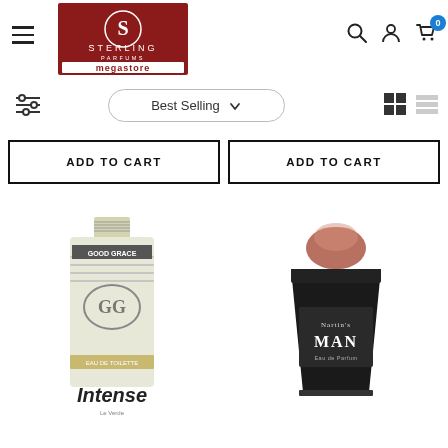[Figure (logo): Sterling Parfums Megastore logo — dark red background with S monogram and serif lettering, megastore in white on red banner]
[Figure (infographic): Filter/sort bar with hamburger menu icon, sliders filter icon, Best Selling dropdown, grid view and list view icons]
ADD TO CART
ADD TO CART
[Figure (photo): Good Grace Intense perfume bottle — silver/white rectangular bottle with GG logo emblem and horizontal lines, 'Intense' text at bottom]
[Figure (photo): Nartin's Man Eau de Parfum bottle — dark black tapered bottle with rose gold cap]